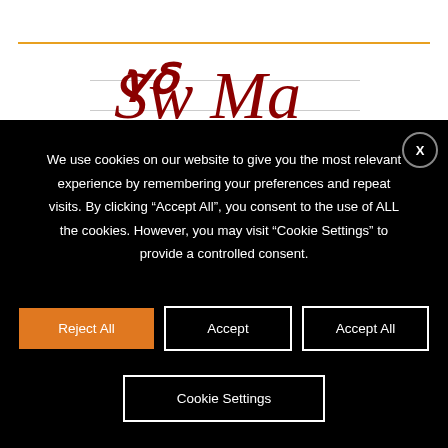[Figure (logo): Cursive/script logo in dark red/maroon color on white background with orange horizontal rule above and gray lines flanking the text]
We use cookies on our website to give you the most relevant experience by remembering your preferences and repeat visits. By clicking “Accept All”, you consent to the use of ALL the cookies. However, you may visit “Cookie Settings” to provide a controlled consent.
Reject All
Accept
Accept All
Cookie Settings